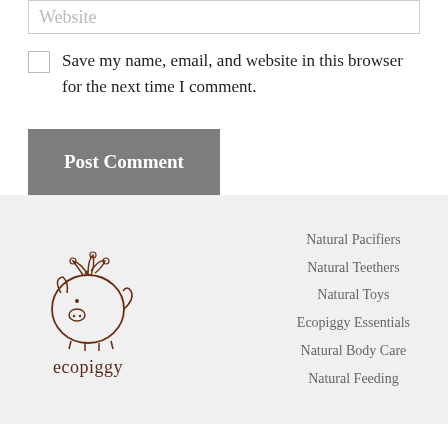Website
Save my name, email, and website in this browser for the next time I comment.
Post Comment
[Figure (logo): Ecopiggy logo: hand-drawn circular pig illustration with leaves/berries on top, with text 'ecopiggy' below]
Natural Pacifiers
Natural Teethers
Natural Toys
Ecopiggy Essentials
Natural Body Care
Natural Feeding